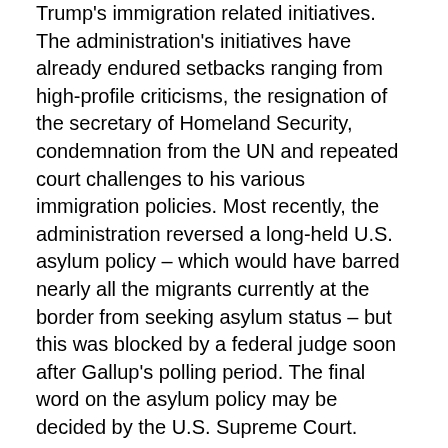Trump's immigration related initiatives. The administration's initiatives have already endured setbacks ranging from high-profile criticisms, the resignation of the secretary of Homeland Security, condemnation from the UN and repeated court challenges to his various immigration policies. Most recently, the administration reversed a long-held U.S. asylum policy – which would have barred nearly all the migrants currently at the border from seeking asylum status – but this was blocked by a federal judge soon after Gallup's polling period. The final word on the asylum policy may be decided by the U.S. Supreme Court.
Across party lines, significant majorities agree that the situation at the border is a "crisis" or "major problem," suggesting that Americans desire some government action on the matter. But many of Trump's policies and proposals on immigration have been unpopular-- and particularly so among Democrats. Trump and Congress did recently work together to increase funding for the border situation, but further action will continue to depend on Trump finding solutions that can pass the Democratic House of Representatives.